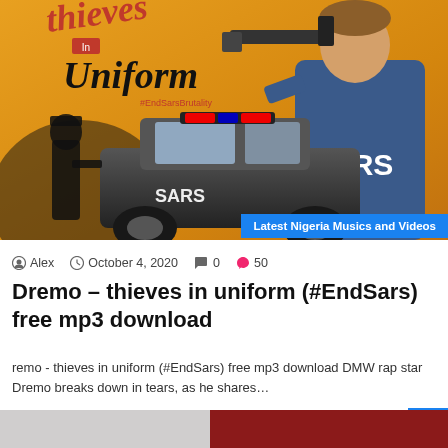[Figure (illustration): Illustration/album art for 'Thieves in Uniform' by Dremo. Shows a cartoon-style SARS officer holding a weapon, a police car with sirens, and a silhouetted officer in the background. Text reads 'thieves In Uniform' and '#EndSarsBrutality'. Badge overlay reads 'Latest Nigeria Musics and Videos'.]
Alex   October 4, 2020   0   50
Dremo – thieves in uniform (#EndSars) free mp3 download
remo - thieves in uniform (#EndSars) free mp3 download DMW rap star Dremo breaks down in tears, as he shares…